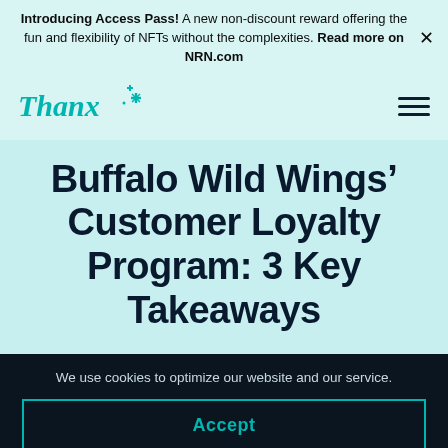Introducing Access Pass! A new non-discount reward offering the fun and flexibility of NFTs without the complexities. Read more on NRN.com
[Figure (logo): Thanx logo in teal italic font with sparkle/star decorations]
Buffalo Wild Wings' Customer Loyalty Program: 3 Key Takeaways
We use cookies to optimize our website and our service.
Accept
Cookie Policy  Privacy